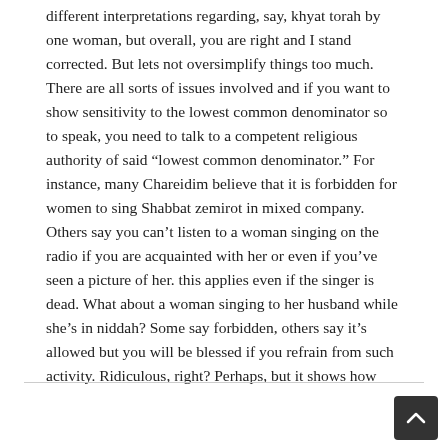different interpretations regarding, say, khyat torah by one woman, but overall, you are right and I stand corrected. But lets not oversimplify things too much. There are all sorts of issues involved and if you want to show sensitivity to the lowest common denominator so to speak, you need to talk to a competent religious authority of said "lowest common denominator." For instance, many Chareidim believe that it is forbidden for women to sing Shabbat zemirot in mixed company. Others say you can't listen to a woman singing on the radio if you are acquainted with her or even if you've seen a picture of her. this applies even if the singer is dead. What about a woman singing to her husband while she's in niddah? Some say forbidden, others say it's allowed but you will be blessed if you refrain from such activity. Ridiculous, right? Perhaps, but it shows how complicated the issue can be.